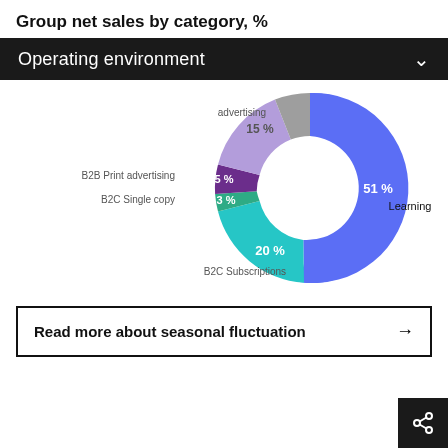Group net sales by category, %
Operating environment
[Figure (donut-chart): Group net sales by category, %]
Read more about seasonal fluctuation →